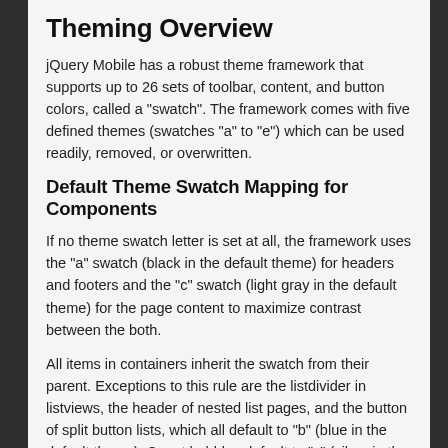Theming Overview
jQuery Mobile has a robust theme framework that supports up to 26 sets of toolbar, content, and button colors, called a "swatch". The framework comes with five defined themes (swatches "a" to "e") which can be used readily, removed, or overwritten.
Default Theme Swatch Mapping for Components
If no theme swatch letter is set at all, the framework uses the "a" swatch (black in the default theme) for headers and footers and the "c" swatch (light gray in the default theme) for the page content to maximize contrast between the both.
All items in containers inherit the swatch from their parent. Exceptions to this rule are the listdivider in listviews, the header of nested list pages, and the button of split button lists, which all default to "b" (blue in the default theme). Count bubbles default to "c" (silver in the